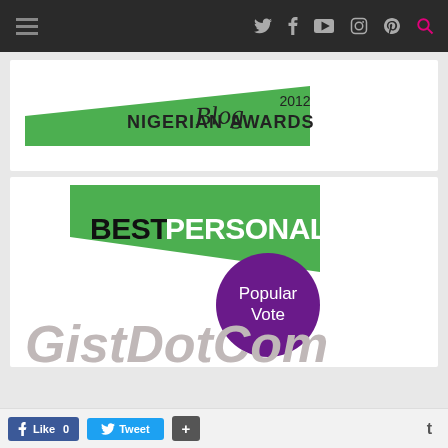Navigation bar with hamburger menu and social icons: Twitter, Facebook, YouTube, Instagram, Pinterest, Search
[Figure (logo): Nigerian Blog Awards 2012 logo — green diagonal parallelogram shape with text 'NIGERIAN Blog AWARDS 2012']
[Figure (infographic): Best Personal Blog award badge — green diagonal shape with text 'BEST PERSONAL BLOG' and a purple circle with 'Popular Vote'. Below is partial GistDotCom site logo in large bold italic grey text.]
Like 0  Tweet  +  t